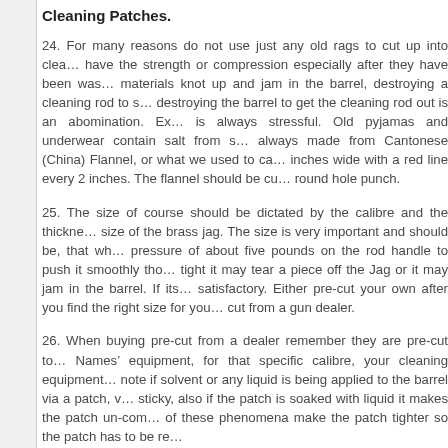Cleaning Patches.
24. For many reasons do not use just any old rags to cut up into cleaning patches, they do not have the strength or compression especially after they have been washed many times, also some materials knot up and jam in the barrel, destroying a cleaning rod to straighten it out and destroying the barrel to get the cleaning rod out is an abomination. Extracting a jammed patch is always stressful. Old pyjamas and underwear contain salt from sweat. Cleaning patches are always made from Cantonese (China) Flannel, or what we used to call '4 by 2', it comes 4 inches wide with a red line every 2 inches. The flannel should be cut with scissors or a round hole punch.
25. The size of course should be dictated by the calibre and the thickness of the flannel and the size of the brass jag. The size is very important and should be, that when you apply a pressure of about five pounds on the rod handle to push it smoothly through the barrel. If its too tight it may tear a piece off the Jag or it may jam in the barrel. If its too loose its not satisfactory. Either pre-cut your own after you find the right size for your barrel, or buy pre-cut from a gun dealer.
26. When buying pre-cut from a dealer remember they are pre-cut to suite the Big Brand Names' equipment, for that specific calibre, your cleaning equipment may differ. Also take note if solvent or any liquid is being applied to the barrel via a patch, wet patches become sticky, also if the patch is soaked with liquid it makes the patch un-compressed. Both of these phenomena make the patch tighter so the patch has to be re...